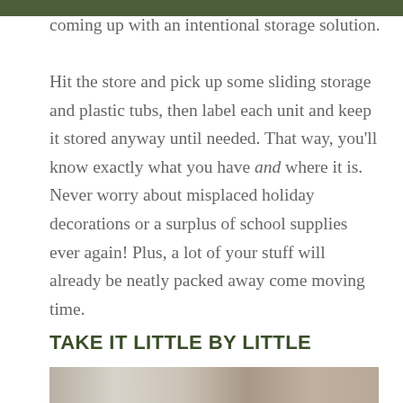coming up with an intentional storage solution.

Hit the store and pick up some sliding storage and plastic tubs, then label each unit and keep it stored anyway until needed. That way, you'll know exactly what you have and where it is. Never worry about misplaced holiday decorations or a surplus of school supplies ever again! Plus, a lot of your stuff will already be neatly packed away come moving time.
TAKE IT LITTLE BY LITTLE
[Figure (photo): Bottom portion of a photo showing people, partially visible at the bottom of the page.]